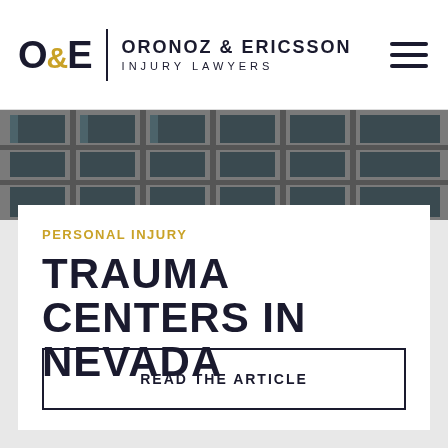O&E ORONOZ & ERICSSON INJURY LAWYERS
[Figure (photo): Black and white photo of a building exterior with windows and architectural details]
PERSONAL INJURY
TRAUMA CENTERS IN NEVADA
READ THE ARTICLE